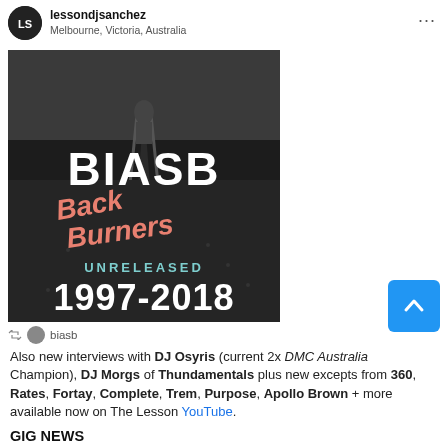lessondjsanchez
Melbourne, Victoria, Australia
[Figure (photo): Black and white album cover for BIASB 'Back Burners Unreleased 1997-2018' showing a person standing on train tracks with large white bold text 'BIASB', pink graffiti text 'Back Burners', teal text 'UNRELEASED', and white text '1997-2018']
biasb
Also new interviews with DJ Osyris (current 2x DMC Australia Champion), DJ Morgs of Thundamentals plus new excepts from 360, Rates, Fortay, Complete, Trem, Purpose, Apollo Brown + more available now on The Lesson YouTube.
GIG NEWS